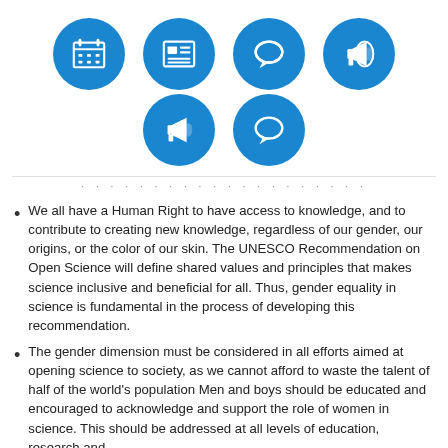[Figure (infographic): Six blue circular icons arranged in two rows. Row 1: calendar/grid icon, newspaper/document icon, speech bubble icon, megaphone icon. Row 2: megaphone icon, speech bubble icon.]
We all have a Human Right to have access to knowledge, and to contribute to creating new knowledge, regardless of our gender, our origins, or the color of our skin. The UNESCO Recommendation on Open Science will define shared values and principles that makes science inclusive and beneficial for all. Thus, gender equality in science is fundamental in the process of developing this recommendation.
The gender dimension must be considered in all efforts aimed at opening science to society, as we cannot afford to waste the talent of half of the world's population Men and boys should be educated and encouraged to acknowledge and support the role of women in science. This should be addressed at all levels of education, research and